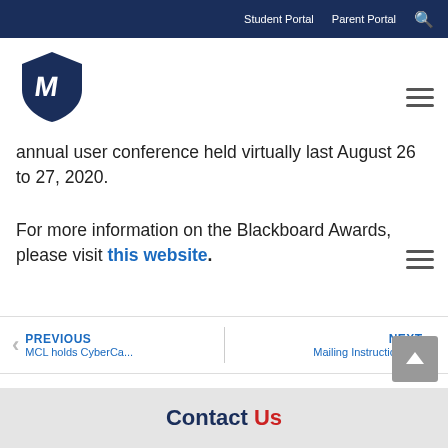Student Portal  Parent Portal
[Figure (logo): School logo: dark navy shield with white stylized M letter]
annual user conference held virtually last August 26 to 27, 2020.
For more information on the Blackboard Awards, please visit this website.
PREVIOUS MCL holds CyberCa...   NEXT Mailing Instructions f...
Contact Us